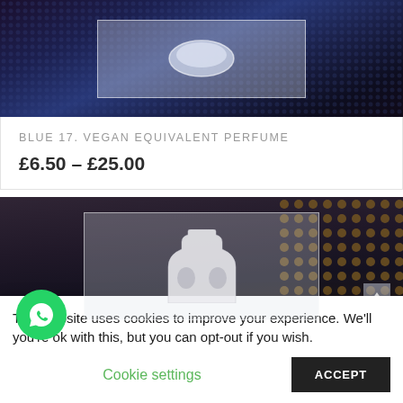[Figure (photo): Product photo of Blue 17 Vegan Equivalent Perfume — dark iridescent mesh/net background with a white/translucent bottle or shaped object in a semi-transparent white bordered frame]
BLUE 17. VEGAN EQUIVALENT PERFUME
£6.50 – £25.00
[Figure (photo): Second product photo — dark blurred background with amber/honeycomb dots on right, white perfume cap/lid shape centered in a semi-transparent white bordered frame. Arrow up icon on right side, dot navigation at bottom right.]
This website uses cookies to improve your experience. We'll you're ok with this, but you can opt-out if you wish.
Cookie settings
ACCEPT